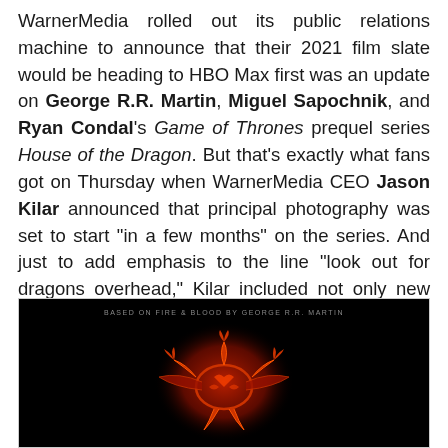WarnerMedia rolled out its public relations machine to announce that their 2021 film slate would be heading to HBO Max first was an update on George R.R. Martin, Miguel Sapochnik, and Ryan Condal's Game of Thrones prequel series House of the Dragon. But that's exactly what fans got on Thursday when WarnerMedia CEO Jason Kilar announced that principal photography was set to start "in a few months" on the series. And just to add emphasis to the line "look out for dragons overhead," Kilar included not only new logo key art but also two pieces of dragon concept designs (which you can check out below). Of course, we have to wonder: with the news being released on the same day that so much HBO Max news is breaking, could this be a sign that House of the Dragon could hit streaming first (like with Euphoria this week)?
[Figure (photo): Dark promotional image for House of the Dragon showing a glowing red dragon sigil (three-headed dragon of House Targaryen) on a black background, with small text at top reading 'BASED ON FIRE & BLOOD BY GEORGE R.R. MARTIN']